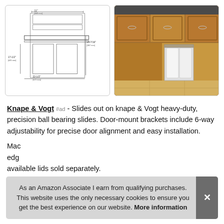[Figure (engineering-diagram): Technical schematic drawing of a pull-out cabinet trash can organizer with dimension annotations showing measurements in inches and mm]
[Figure (photo): Color photograph of a pull-out trash can insert installed inside a wood kitchen cabinet with white waste bins visible]
Knape & Vogt #ad - Slides out on knape & Vogt heavy-duty, precision ball bearing slides. Door-mount brackets include 6-way adjustability for precise door alignment and easy installation.
Mac... edg... available lids sold separately.
As an Amazon Associate I earn from qualifying purchases. This website uses the only necessary cookies to ensure you get the best experience on our website. More information